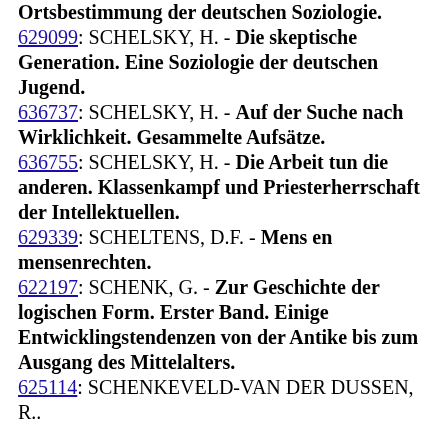Ortsbestimmung der deutschen Soziologie.
629099: SCHELSKY, H. - Die skeptische Generation. Eine Soziologie der deutschen Jugend.
636737: SCHELSKY, H. - Auf der Suche nach Wirklichkeit. Gesammelte Aufsätze.
636755: SCHELSKY, H. - Die Arbeit tun die anderen. Klassenkampf und Priesterherrschaft der Intellektuellen.
629339: SCHELTENS, D.F. - Mens en mensenrechten.
622197: SCHENK, G. - Zur Geschichte der logischen Form. Erster Band. Einige Entwicklingstendenzen von der Antike bis zum Ausgang des Mittelalters.
625114: SCHENKEVELD-VAN DER DUSSEN, R..